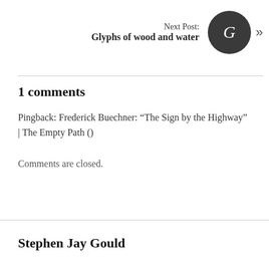Next Post: Glyphs of wood and water
1 comments
Pingback: Frederick Buechner: “The Sign by the Highway” | The Empty Path ()
Comments are closed.
Stephen Jay Gould